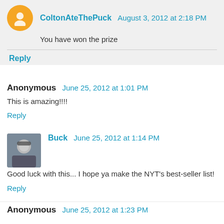ColtonAteThePuck  August 3, 2012 at 2:18 PM
You have won the prize
Reply
Anonymous  June 25, 2012 at 1:01 PM
This is amazing!!!!
Reply
Buck  June 25, 2012 at 1:14 PM
Good luck with this... I hope ya make the NYT's best-seller list!
Reply
Anonymous  June 25, 2012 at 1:23 PM